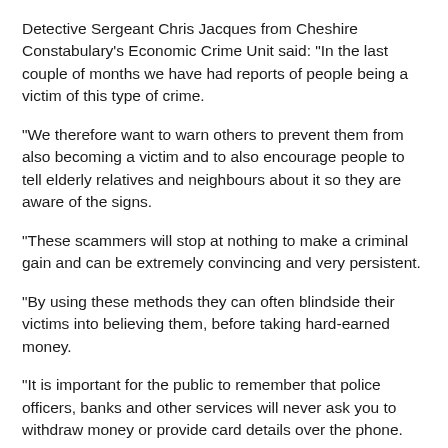Detective Sergeant Chris Jacques from Cheshire Constabulary's Economic Crime Unit said: "In the last couple of months we have had reports of people being a victim of this type of crime.
"We therefore want to warn others to prevent them from also becoming a victim and to also encourage people to tell elderly relatives and neighbours about it so they are aware of the signs.
"These scammers will stop at nothing to make a criminal gain and can be extremely convincing and very persistent.
"By using these methods they can often blindside their victims into believing them, before taking hard-earned money.
"It is important for the public to remember that police officers, banks and other services will never ask you to withdraw money or provide card details over the phone.